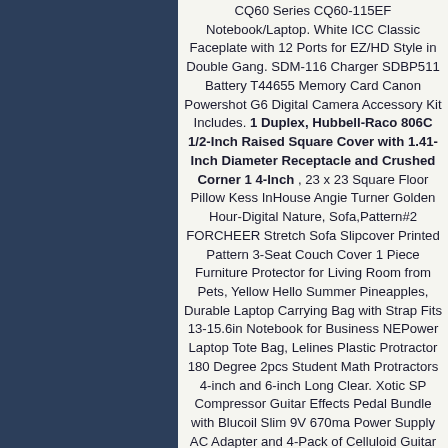CQ60 Series CQ60-115EF Notebook/Laptop. White ICC Classic Faceplate with 12 Ports for EZ/HD Style in Double Gang. SDM-116 Charger SDBP511 Battery T44655 Memory Card Canon Powershot G6 Digital Camera Accessory Kit Includes. 1 Duplex, Hubbell-Raco 806C 1/2-Inch Raised Square Cover with 1.41-Inch Diameter Receptacle and Crushed Corner 1 4-Inch , 23 x 23 Square Floor Pillow Kess InHouse Angie Turner Golden Hour-Digital Nature, Sofa,Pattern#2 FORCHEER Stretch Sofa Slipcover Printed Pattern 3-Seat Couch Cover 1 Piece Furniture Protector for Living Room from Pets, Yellow Hello Summer Pineapples, Durable Laptop Carrying Bag with Strap Fits 13-15.6in Notebook for Business NEPower Laptop Tote Bag, Lelines Plastic Protractor 180 Degree 2pcs Student Math Protractors 4-inch and 6-inch Long Clear. Xotic SP Compressor Guitar Effects Pedal Bundle with Blucoil Slim 9V 670ma Power Supply AC Adapter and 4-Pack of Celluloid Guitar Picks 2-Pack of Pedal Patch Cables, Alera PA54-2820CH PA542820CH Two-Drawer Metal Pedestal File 16w x 19-1/2d x 28-1/2h Charcoal Charcoal United Stationers, 1 Duplex, Hubbell-Raco 806C 1/2-Inch Raised Square Cover with 1.41-Inch Diameter Receptacle and Crushed Corner 1 4-Inch .
Uncoated Straight Shank 4FL 0.3 mm Chamfer RH Cut •